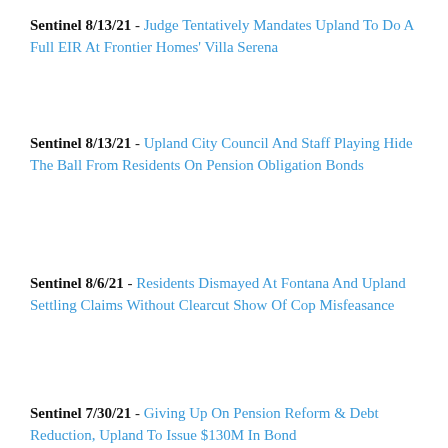Sentinel 8/13/21 - Judge Tentatively Mandates Upland To Do A Full EIR At Frontier Homes' Villa Serena
Sentinel 8/13/21 - Upland City Council And Staff Playing Hide The Ball From Residents On Pension Obligation Bonds
Sentinel 8/6/21 - Residents Dismayed At Fontana And Upland Settling Claims Without Clearcut Show Of Cop Misfeasance
Sentinel 7/30/21 - Giving Up On Pension Reform & Debt Reduction, Upland To Issue $130M In Bond